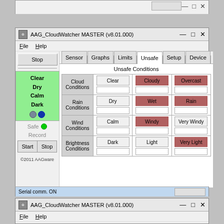[Figure (screenshot): Partial top window bar of AAG_CloudWatcher application]
[Figure (screenshot): AAG_CloudWatcher MASTER (v8.01.000) main application window showing Unsafe Conditions tab with Cloud, Rain, Wind, and Brightness condition selectors. Selected unsafe conditions highlighted in red: Cloudy, Overcast, Wet, Rain, Windy, Very Light. Status shows Clear Dry Calm Dark. Safe indicator is green. Serial comm ON.]
[Figure (screenshot): Partial bottom window of AAG_CloudWatcher MASTER (v8.01.000) showing title bar and menu bar with File and Help menus]